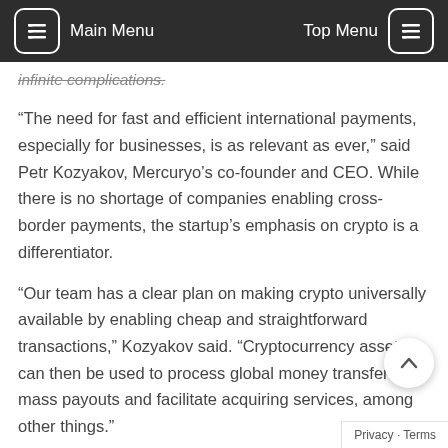Main Menu | Top Menu
infinite complications.
“The need for fast and efficient international payments, especially for businesses, is as relevant as ever,” said Petr Kozyakov, Mercuryo’s co-founder and CEO. While there is no shortage of companies enabling cross-border payments, the startup’s emphasis on crypto is a differentiator.
“Our team has a clear plan on making crypto universally available by enabling cheap and straightforward transactions,” Kozyakov said. “Cryptocurrency assets can then be used to process global money transfers, mass payouts and facilitate acquiring services, among other things.”
Mercuryo began onboarding customers at the beginning of 2019, and has seen impressive growth since with